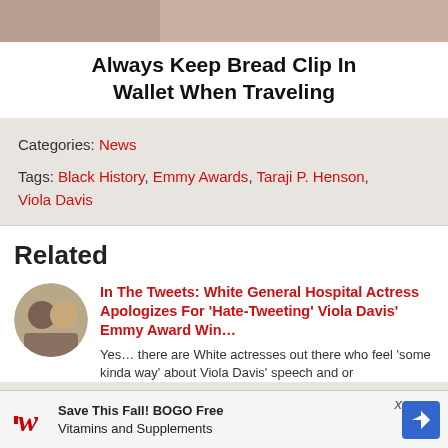[Figure (photo): Image of hands or skin, partially cropped at top]
Always Keep Bread Clip In Wallet When Traveling
Categories: News
Tags: Black History, Emmy Awards, Taraji P. Henson, Viola Davis
Related
[Figure (photo): Circular thumbnail photo of two people]
In The Tweets: White General Hospital Actress Apologizes For 'Hate-Tweeting' Viola Davis' Emmy Award Win…
Yes… there are White actresses out there who feel 'some kinda way' about Viola Davis' speech and or
[Figure (advertisement): Walgreens ad: Save This Fall! BOGO Free Vitamins and Supplements]